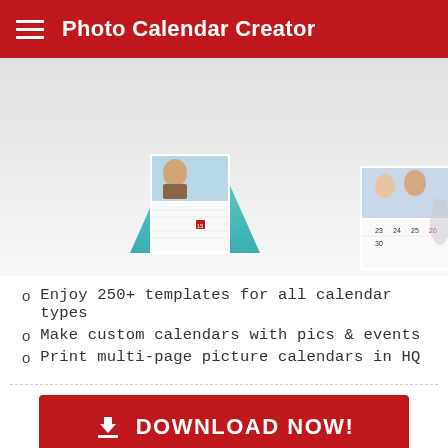Photo Calendar Creator
[Figure (photo): Product photo showing two custom photo calendars — a small tent-style desk calendar with teal/green stand featuring family photos and calendar grid, and a larger wall calendar with a photo of a couple and numbered calendar grid showing dates 23-30]
Enjoy 250+ templates for all calendar types
Make custom calendars with pics & events
Print multi-page picture calendars in HQ
DOWNLOAD NOW!
Support for any language!